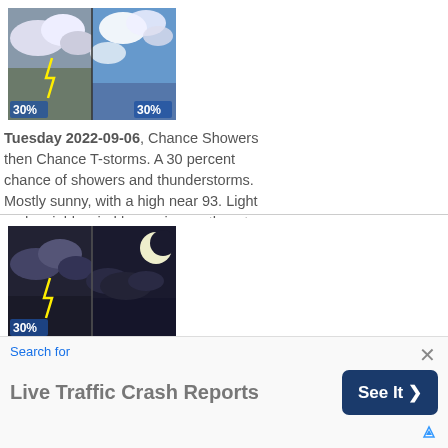[Figure (photo): Weather image showing daytime clouds and lightning with 30% precipitation labels on both left and right sides]
Tuesday 2022-09-06, Chance Showers then Chance T-storms. A 30 percent chance of showers and thunderstorms. Mostly sunny, with a high near 93. Light and variable wind becoming northeast 5 to 10 mph in the afternoon.
[Figure (photo): Weather image showing nighttime clouds and moon with lightning, 30% precipitation label on left side]
Tuesday Night 2022-09-06, Chance T-storms then Partly Cloudy. A chance of thunderstorms before 8pm. Partly cloudy, with a low around 75. East wind around 5 mph becoming calm in the evening. Chance of precipitation is 30%.
Search for
Live Traffic Crash Reports